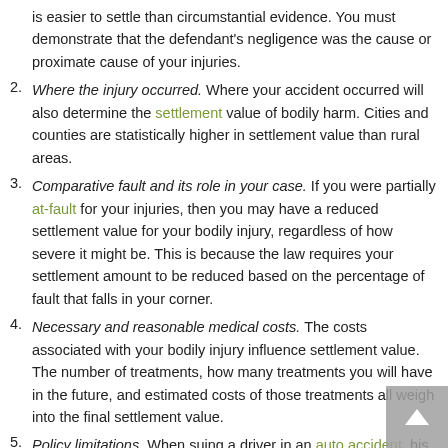is easier to settle than circumstantial evidence. You must demonstrate that the defendant’s negligence was the cause or proximate cause of your injuries.
Where the injury occurred. Where your accident occurred will also determine the settlement value of bodily harm. Cities and counties are statistically higher in settlement value than rural areas.
Comparative fault and its role in your case. If you were partially at-fault for your injuries, then you may have a reduced settlement value for your bodily injury, regardless of how severe it might be. This is because the law requires your settlement amount to be reduced based on the percentage of fault that falls in your corner.
Necessary and reasonable medical costs. The costs associated with your bodily injury influence settlement value. The number of treatments, how many treatments you will have in the future, and estimated costs of those treatments all weigh into the final settlement value.
Policy limitations. When suing a driver in an auto accident, his or her policy limits will dictate how much you receive. While you can sue that person privately, as well – covering what the insurer cannot – this depends on personal assets and